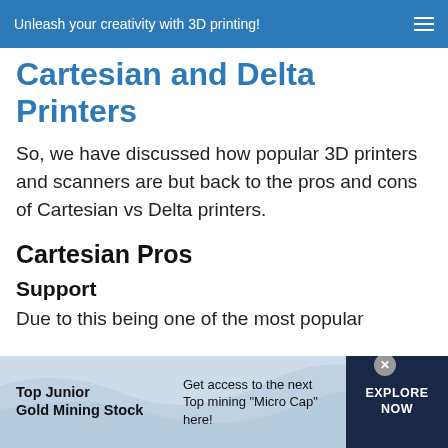Unleash your creativity with 3D printing!
Cartesian and Delta Printers
So, we have discussed how popular 3D printers and scanners are but back to the pros and cons of Cartesian vs Delta printers.
Cartesian Pros
Support
Due to this being one of the most popular
[Figure (other): Advertisement banner: Top Junior Gold Mining Stock — Get access to the next Top mining "Micro Cap" here! EXPLORE NOW]